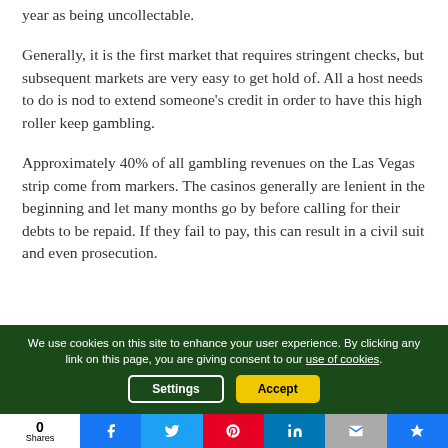year as being uncollectable.
Generally, it is the first market that requires stringent checks, but subsequent markets are very easy to get hold of. All a host needs to do is nod to extend someone's credit in order to have this high roller keep gambling.
Approximately 40% of all gambling revenues on the Las Vegas strip come from markers. The casinos generally are lenient in the beginning and let many months go by before calling for their debts to be repaid. If they fail to pay, this can result in a civil suit and even prosecution.
We use cookies on this site to enhance your user experience. By clicking any link on this page, you are giving consent to our use of cookies.
[Figure (infographic): Social media sharing bar with 0 Shares count and icons for Facebook, Twitter, Pinterest, LinkedIn, Email, and another icon]